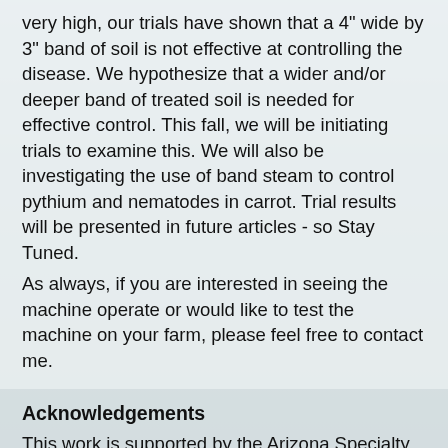very high, our trials have shown that a 4" wide by 3" band of soil is not effective at controlling the disease. We hypothesize that a wider and/or deeper band of treated soil is needed for effective control. This fall, we will be initiating trials to examine this. We will also be investigating the use of band steam to control pythium and nematodes in carrot. Trial results will be presented in future articles - so Stay Tuned.
As always, if you are interested in seeing the machine operate or would like to test the machine on your farm, please feel free to contact me.
Acknowledgements
This work is supported by the Arizona Specialty Crop Block Grant Program and the Arizona Iceberg Lettuce Research Council. We greatly appreciate their support. Any opinions, findings, conclusions, or recommendations expressed in this publication are those of the author(s) and do not necessarily reflect the view of the U.S.